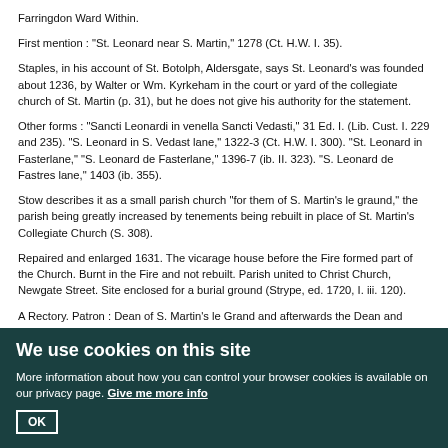Farringdon Ward Within.
First mention : "St. Leonard near S. Martin," 1278 (Ct. H.W. I. 35).
Staples, in his account of St. Botolph, Aldersgate, says St. Leonard's was founded about 1236, by Walter or Wm. Kyrkeham in the court or yard of the collegiate church of St. Martin (p. 31), but he does not give his authority for the statement.
Other forms : "Sancti Leonardi in venella Sancti Vedasti," 31 Ed. I. (Lib. Cust. I. 229 and 235). "S. Leonard in S. Vedast lane," 1322-3 (Ct. H.W. I. 300). "St. Leonard in Fasterlane," "S. Leonard de Fasterlane," 1396-7 (ib. II. 323). "S. Leonard de Fastres lane," 1403 (ib. 355).
Stow describes it as a small parish church "for them of S. Martin's le graund," the parish being greatly increased by tenements being rebuilt in place of St. Martin's Collegiate Church (S. 308).
Repaired and enlarged 1631. The vicarage house before the Fire formed part of the Church. Burnt in the Fire and not rebuilt. Parish united to Christ Church, Newgate Street. Site enclosed for a burial ground (Strype, ed. 1720, I. iii. 120).
A Rectory. Patron : Dean of S. Martin's le Grand and afterwards the Dean and Chapter of Westminster.
We use cookies on this site
More information about how you can control your browser cookies is available on our privacy page. Give me more info